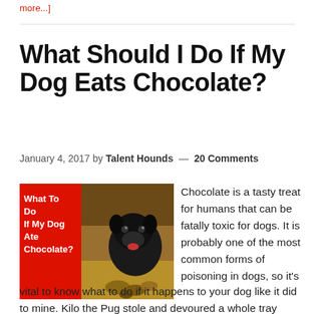more...]
What Should I Do If My Dog Eats Chocolate?
January 4, 2017 by Talent Hounds — 20 Comments
[Figure (photo): A black pug surrounded by chocolates, with a red overlay on the left showing text 'What To Do If My Dog Ate Chocolate?']
Chocolate is a tasty treat for humans that can be fatally toxic for dogs. It is probably one of the most common forms of poisoning in dogs, so it's vital to know what to do if it happens to your dog like it did to mine. Kilo the Pug stole and devoured a whole tray